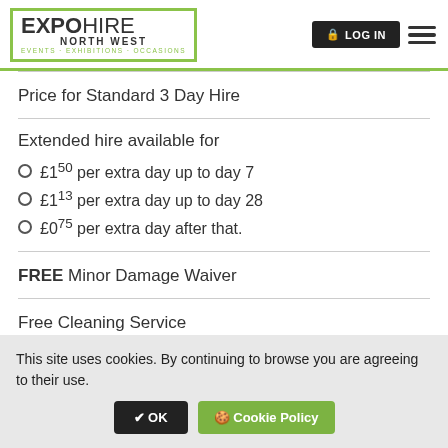[Figure (logo): Expo Hire North West logo with green bracket border, tagline EVENTS · EXHIBITIONS · OCCASIONS]
Price for Standard 3 Day Hire
Extended hire available for
£1.50 per extra day up to day 7
£1.13 per extra day up to day 28
£0.75 per extra day after that.
FREE Minor Damage Waiver
Free Cleaning Service
This site uses cookies. By continuing to browse you are agreeing to their use.